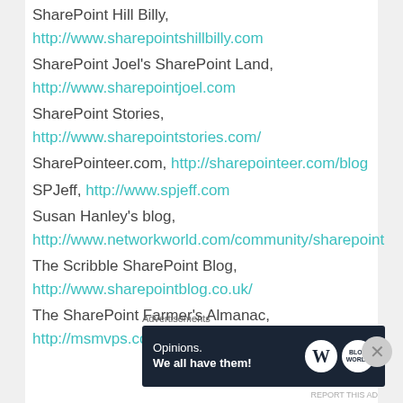SharePoint Hill Billy, http://www.sharepointshillbilly.com
SharePoint Joel's SharePoint Land, http://www.sharepointjoel.com
SharePoint Stories, http://www.sharepointstories.com/
SharePointeer.com, http://sharepointeer.com/blog
SPJeff, http://www.spjeff.com
Susan Hanley's blog, http://www.networkworld.com/community/sharepoint
The Scribble SharePoint Blog, http://www.sharepointblog.co.uk/
The SharePoint Farmer's Almanac, http://msmvps.com/blogs/shane/defaul
Advertisements
[Figure (infographic): Advertisement banner with dark navy background. Text reads 'Opinions. We all have them!' with WordPress and another logo icon on the right.]